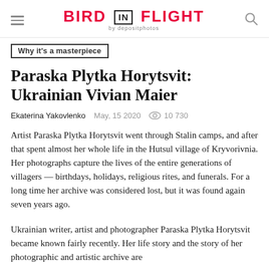BIRD IN FLIGHT by depositphotos
Why it's a masterpiece
Paraska Plytka Horytsvit: Ukrainian Vivian Maier
Ekaterina Yakovlenko  May, 15 2020  10 730
Artist Paraska Plytka Horytsvit went through Stalin camps, and after that spent almost her whole life in the Hutsul village of Kryvorivnia. Her photographs capture the lives of the entire generations of villagers — birthdays, holidays, religious rites, and funerals. For a long time her archive was considered lost, but it was found again seven years ago.
Ukrainian writer, artist and photographer Paraska Plytka Horytsvit became known fairly recently. Her life story and the story of her photographic and artistic archive are